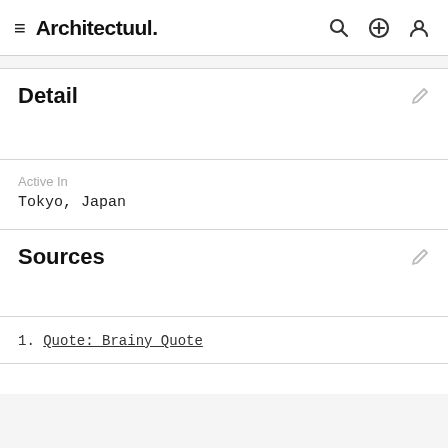Architectuul.
Detail
Active In
Tokyo, Japan
Sources
1. Quote: Brainy Quote